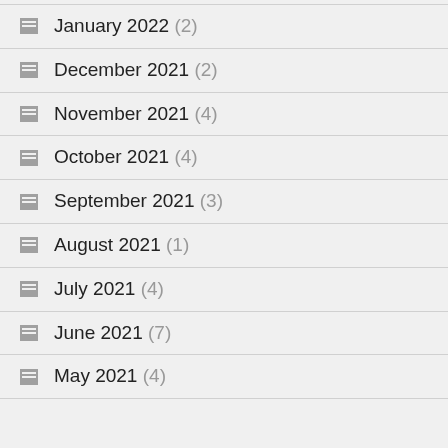January 2022 (2)
December 2021 (2)
November 2021 (4)
October 2021 (4)
September 2021 (3)
August 2021 (1)
July 2021 (4)
June 2021 (7)
May 2021 (4)